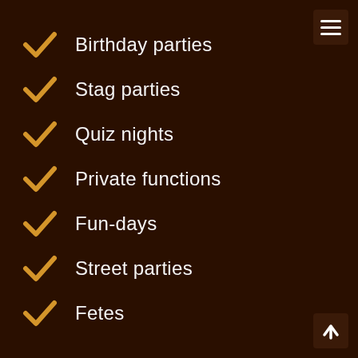Birthday parties
Stag parties
Quiz nights
Private functions
Fun-days
Street parties
Fetes